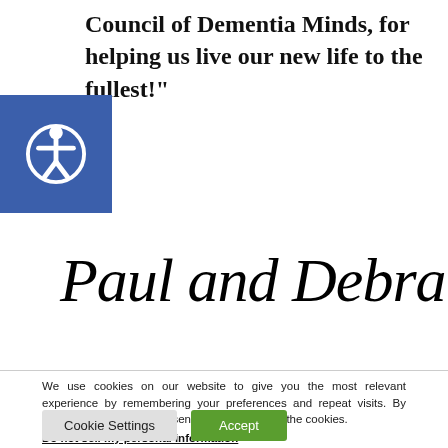Council of Dementia Minds, for helping us live our new life to the fullest!"
[Figure (illustration): Accessibility icon — white person figure with arms outstretched in a circle, on a blue square background]
Paul and Debra
We use cookies on our website to give you the most relevant experience by remembering your preferences and repeat visits. By clicking “Accept”, you consent to the use of ALL the cookies.
Do not sell my personal information.
Cookie Settings   Accept